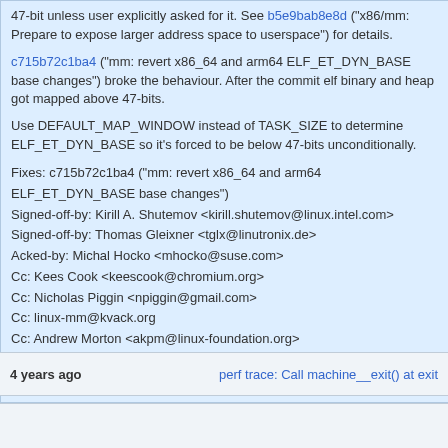47-bit unless user explicitly asked for it. See b5e9bab8e8d ("x86/mm: Prepare to expose larger address space to userspace") for details.
c715b72c1ba4 ("mm: revert x86_64 and arm64 ELF_ET_DYN_BASE base changes") broke the behaviour. After the commit elf binary and heap got mapped above 47-bits.
Use DEFAULT_MAP_WINDOW instead of TASK_SIZE to determine ELF_ET_DYN_BASE so it's forced to be below 47-bits unconditionally.
Fixes: c715b72c1ba4 ("mm: revert x86_64 and arm64 ELF_ET_DYN_BASE base changes")
Signed-off-by: Kirill A. Shutemov <kirill.shutemov@linux.intel.com>
Signed-off-by: Thomas Gleixner <tglx@linutronix.de>
Acked-by: Michal Hocko <mhocko@suse.com>
Cc: Kees Cook <keescook@chromium.org>
Cc: Nicholas Piggin <npiggin@gmail.com>
Cc: linux-mm@kvack.org
Cc: Andrew Morton <akpm@linux-foundation.org>
Link: https://lkml.kernel.org/r/20171107103804.47341-1-kirill.shutemov@linux.intel.com
4 years ago
perf trace: Call machine__exit() at exit